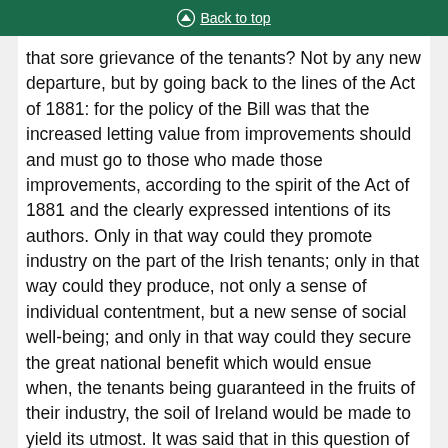Back to top
that sore grievance of the tenants? Not by any new departure, but by going back to the lines of the Act of 1881: for the policy of the Bill was that the increased letting value from improvements should and must go to those who made those improvements, according to the spirit of the Act of 1881 and the clearly expressed intentions of its authors. Only in that way could they promote industry on the part of the Irish tenants; only in that way could they produce, not only a sense of individual contentment, but a new sense of social well-being; and only in that way could they secure the great national benefit which would ensue when, the tenants being guaranteed in the fruits of their industry, the soil of Ireland would be made to yield its utmost. It was said that in this question of